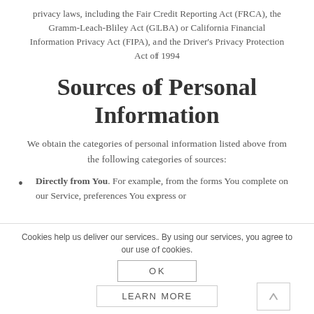privacy laws, including the Fair Credit Reporting Act (FRCA), the Gramm-Leach-Bliley Act (GLBA) or California Financial Information Privacy Act (FIPA), and the Driver's Privacy Protection Act of 1994
Sources of Personal Information
We obtain the categories of personal information listed above from the following categories of sources:
Directly from You. For example, from the forms You complete on our Service, preferences You express or
Cookies help us deliver our services. By using our services, you agree to our use of cookies.
OK
LEARN MORE